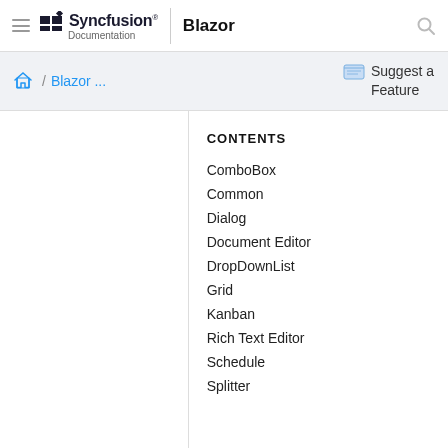Syncfusion Documentation | Blazor
Blazor ... / Suggest a Feature
CONTENTS
ComboBox
Common
Dialog
Document Editor
DropDownList
Grid
Kanban
Rich Text Editor
Schedule
Splitter